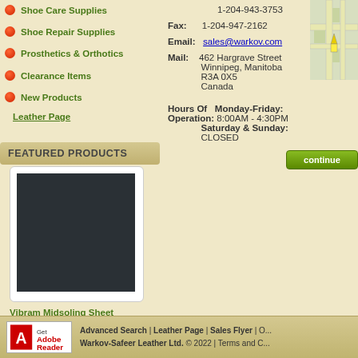Shoe Care Supplies
Shoe Repair Supplies
Prosthetics & Orthotics
Clearance Items
New Products
Leather Page
1-204-943-3753
Fax: 1-204-947-2162
Email: sales@warkov.com
Mail: 462 Hargrave Street, Winnipeg, Manitoba, R3A 0X5, Canada
Hours Of Operation: Monday-Friday: 8:00AM - 4:30PM Saturday & Sunday: CLOSED
FEATURED PRODUCTS
[Figure (photo): Product image of Vibram Midsoling Sheet - dark charcoal/black rubber sheet]
Vibram Midsoling Sheet
[Figure (map): Street map showing location near 462 Hargrave Street, Winnipeg]
Advanced Search | Leather Page | Sales Flyer | O... Warkov-Safeer Leather Ltd. © 2022 | Terms and C...